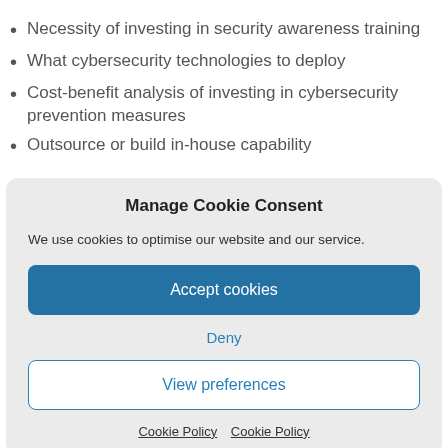Necessity of investing in security awareness training
What cybersecurity technologies to deploy
Cost-benefit analysis of investing in cybersecurity prevention measures
Outsource or build in-house capability
Manage Cookie Consent
We use cookies to optimise our website and our service.
Accept cookies
Deny
View preferences
Cookie Policy  Cookie Policy